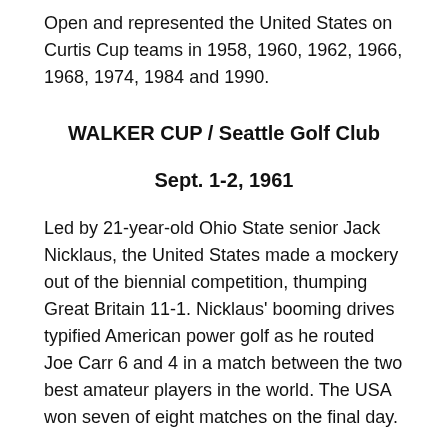Open and represented the United States on Curtis Cup teams in 1958, 1960, 1962, 1966, 1968, 1974, 1984 and 1990.
WALKER CUP / Seattle Golf Club
Sept. 1-2, 1961
Led by 21-year-old Ohio State senior Jack Nicklaus, the United States made a mockery out of the biennial competition, thumping Great Britain 11-1. Nicklaus' booming drives typified American power golf as he routed Joe Carr 6 and 4 in a match between the two best amateur players in the world. The USA won seven of eight matches on the final day.
“Record searchers had to dig hack to 1928 and the Chicago Golf Club to find a larger margin of victory in this event.